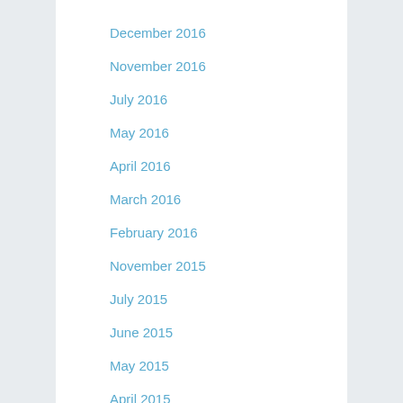December 2016
November 2016
July 2016
May 2016
April 2016
March 2016
February 2016
November 2015
July 2015
June 2015
May 2015
April 2015
March 2015